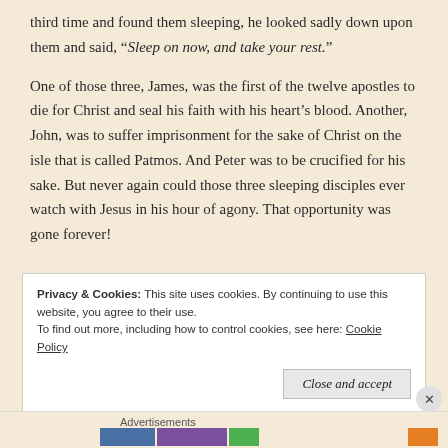third time and found them sleeping, he looked sadly down upon them and said, “Sleep on now, and take your rest.”
One of those three, James, was the first of the twelve apostles to die for Christ and seal his faith with his heart’s blood. Another, John, was to suffer imprisonment for the sake of Christ on the isle that is called Patmos. And Peter was to be crucified for his sake. But never again could those three sleeping disciples ever watch with Jesus in his hour of agony. That opportunity was gone forever!
Privacy & Cookies: This site uses cookies. By continuing to use this website, you agree to their use. To find out more, including how to control cookies, see here: Cookie Policy
Close and accept
Advertisements